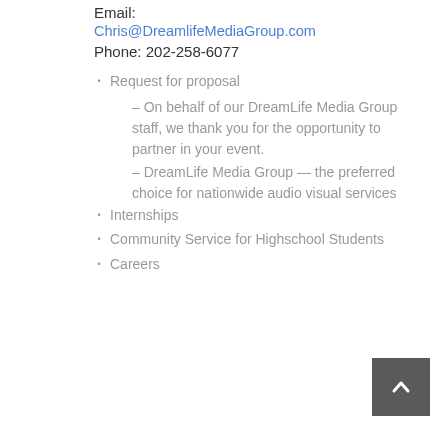Email:
Chris@DreamlifeMediaGroup.com
Phone: 202-258-6077
Request for proposal
– On behalf of our DreamLife Media Group staff, we thank you for the opportunity to partner in your event.
– DreamLife Media Group — the preferred choice for nationwide audio visual services
Internships
Community Service for Highschool Students
Careers